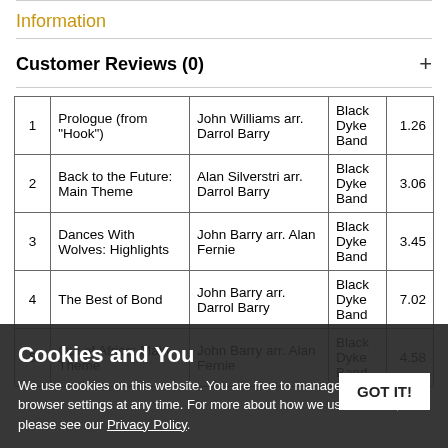Information
Customer Reviews (0)
| # | Title | Composer/Arranger | Band | Time |
| --- | --- | --- | --- | --- |
| 1 | Prologue (from "Hook") | John Williams arr. Darrol Barry | Black Dyke Band | 1.26 |
| 2 | Back to the Future: Main Theme | Alan Silverstri arr. Darrol Barry | Black Dyke Band | 3.06 |
| 3 | Dances With Wolves: Highlights | John Barry arr. Alan Fernie | Black Dyke Band | 3.45 |
| 4 | The Best of Bond | John Barry arr. Darrol Barry | Black Dyke Band | 7.02 |
| 5 | Out of Africa: Main Theme | John Barry arr. Alan Fernie | Black Dyke Band | 4.58 |
Cookies and You
We use cookies on this website. You are free to manage these via your browser settings at any time. For more about how we use cookies, please see our Privacy Policy.
GOT IT!